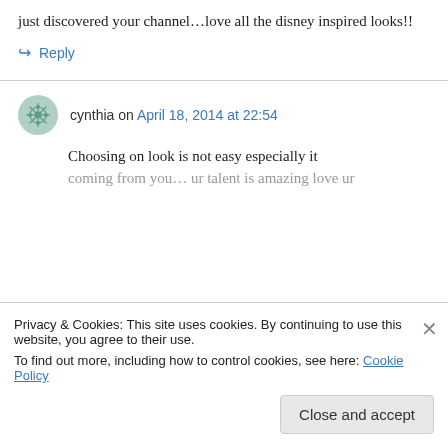just discovered your channel…love all the disney inspired looks!!
↪ Reply
cynthia on April 18, 2014 at 22:54
Choosing on look is not easy especially it coming from you… ur talent is amazing love ur
Privacy & Cookies: This site uses cookies. By continuing to use this website, you agree to their use. To find out more, including how to control cookies, see here: Cookie Policy
Close and accept